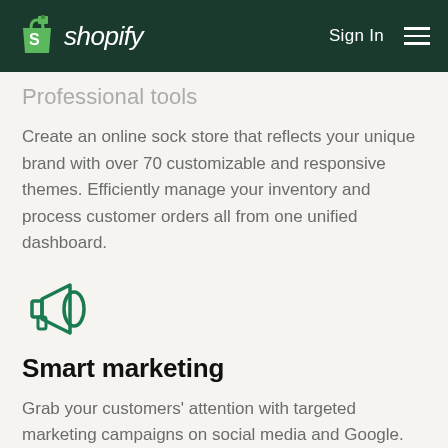shopify  Sign In
Professional tools
Create an online sock store that reflects your unique brand with over 70 customizable and responsive themes. Efficiently manage your inventory and process customer orders all from one unified dashboard.
[Figure (illustration): Megaphone / bullhorn icon in dark green outline style]
Smart marketing
Grab your customers' attention with targeted marketing campaigns on social media and Google. Make sure customers can find your sock store by using Shopify's built-in SEO tools and